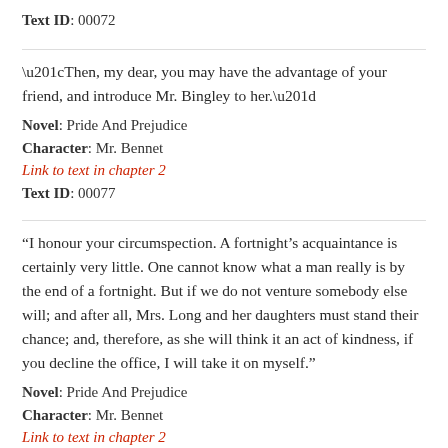Text ID: 00072
“Then, my dear, you may have the advantage of your friend, and introduce Mr. Bingley to her.”
Novel: Pride And Prejudice
Character: Mr. Bennet
Link to text in chapter 2
Text ID: 00077
“I honour your circumspection. A fortnight’s acquaintance is certainly very little. One cannot know what a man really is by the end of a fortnight. But if we do not venture somebody else will; and after all, Mrs. Long and her daughters must stand their chance; and, therefore, as she will think it an act of kindness, if you decline the office, I will take it on myself.”
Novel: Pride And Prejudice
Character: Mr. Bennet
Link to text in chapter 2
Text ID: 00079
“What can be the meaning of that emphatic exclamation?”